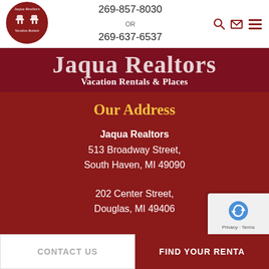[Figure (logo): Jaqua Realtors Vacation Rentals circular logo with two chairs, dark red background]
269-857-8030
OR
269-637-6537
Jaqua Realtors Vacation Rentals & Places
Our Address
Jaqua Realtors
513 Broadway Street,
South Haven, MI 49090
202 Center Street,
Douglas, MI 49406
CONTACT US
FIND YOUR RENTA...